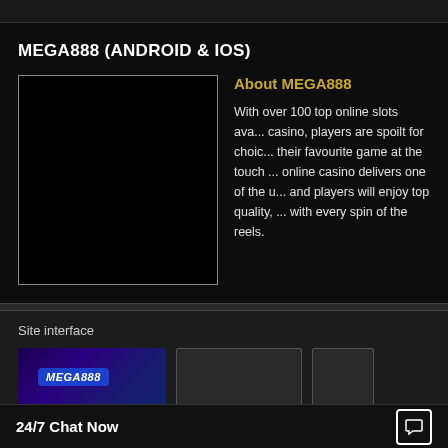MEGA888 (ANDROID & IOS)
[Figure (screenshot): Black placeholder image box with gray border]
About MEGA888
With over 100 top online slots available at this casino, players are spoilt for choice and can play their favourite game at the touch of a button. This online casino delivers one of the ultimate gaming and players will enjoy top quality, exciting games with every spin of the reels.
Site interface
[Figure (screenshot): MEGA888 promotional image with woman and game thumbnails on purple/blue background]
[Figure (screenshot): Gray placeholder screenshot box]
[Figure (screenshot): Gray placeholder screenshot box smaller]
24/7 Chat Now